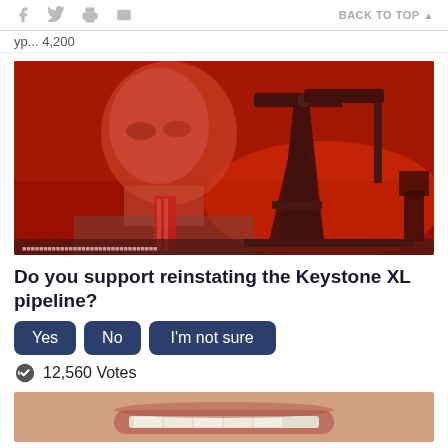BACK TO TOP ▲
yp... 4,200
[Figure (photo): A red-tinted composite image showing a man (resembling Joe Biden) speaking on the left and an oil pump jack silhouette on the right against a red/orange background.]
Do you support reinstating the Keystone XL pipeline?
Yes   No   I'm not sure
12,560 Votes
[Figure (photo): Partial bottom image showing a close-up of a person's mouth/teeth.]